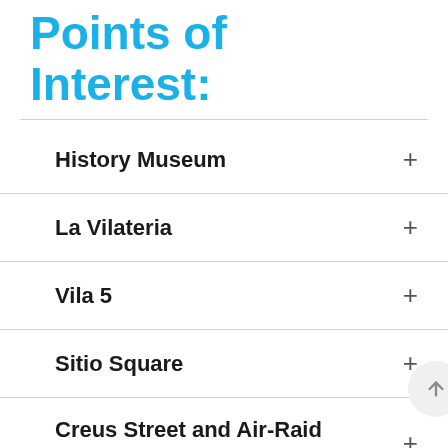Points of Interest:
History Museum
La Vilateria
Vila 5
Sitio Square
Creus Street and Air-Raid Shelter